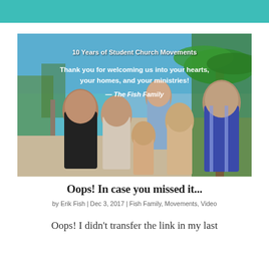[Figure (photo): Family photo of The Fish Family outdoors near a pool with palm trees and blue sky. Text overlay reads: '10 Years of Student Church Movements / Thank you for welcoming us into your hearts, your homes, and your ministries! / — The Fish Family']
Oops! In case you missed it...
by Erik Fish | Dec 3, 2017 | Fish Family, Movements, Video
Oops! I didn't transfer the link in my last